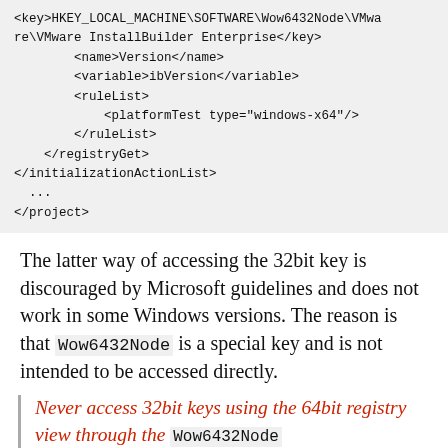<key>HKEY_LOCAL_MACHINE\SOFTWARE\Wow6432Node\VMware\VMware InstallBuilder Enterprise</key>
        <name>Version</name>
        <variable>ibVersion</variable>
        <ruleList>
            <platformTest type="windows-x64"/>
        </ruleList>
    </registryGet>
</initializationActionList>
  ...
</project>
The latter way of accessing the 32bit key is discouraged by Microsoft guidelines and does not work in some Windows versions. The reason is that Wow6432Node is a special key and is not intended to be accessed directly.
Never access 32bit keys using the 64bit registry view through the Wow6432Node